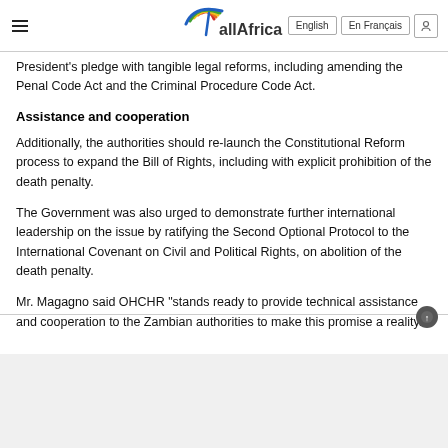allAfrica | English | En Français
President’s pledge with tangible legal reforms, including amending the Penal Code Act and the Criminal Procedure Code Act.
Assistance and cooperation
Additionally, the authorities should re-launch the Constitutional Reform process to expand the Bill of Rights, including with explicit prohibition of the death penalty.
The Government was also urged to demonstrate further international leadership on the issue by ratifying the Second Optional Protocol to the International Covenant on Civil and Political Rights, on abolition of the death penalty.
Mr. Magagno said OHCHR "stands ready to provide technical assistance and cooperation to the Zambian authorities to make this promise a reality."